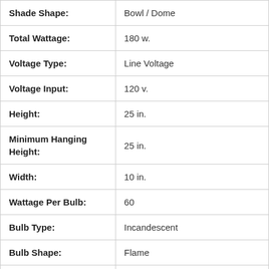| Property | Value |
| --- | --- |
| Shade Shape: | Bowl / Dome |
| Total Wattage: | 180 w. |
| Voltage Type: | Line Voltage |
| Voltage Input: | 120 v. |
| Height: | 25 in. |
| Minimum Hanging Height: | 25 in. |
| Width: | 10 in. |
| Wattage Per Bulb: | 60 |
| Bulb Type: | Incandescent |
| Bulb Shape: | Flame |
| Base Type: | Candelabra Screw (E1 |
| Number Of Bulbs: | 3 |